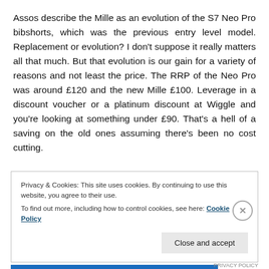Assos describe the Mille as an evolution of the S7 Neo Pro bibshorts, which was the previous entry level model. Replacement or evolution? I don’t suppose it really matters all that much. But that evolution is our gain for a variety of reasons and not least the price. The RRP of the Neo Pro was around £120 and the new Mille £100. Leverage in a discount voucher or a platinum discount at Wiggle and you’re looking at something under £90. That’s a hell of a saving on the old ones assuming there’s been no cost cutting.
Privacy & Cookies: This site uses cookies. By continuing to use this website, you agree to their use.
To find out more, including how to control cookies, see here: Cookie Policy